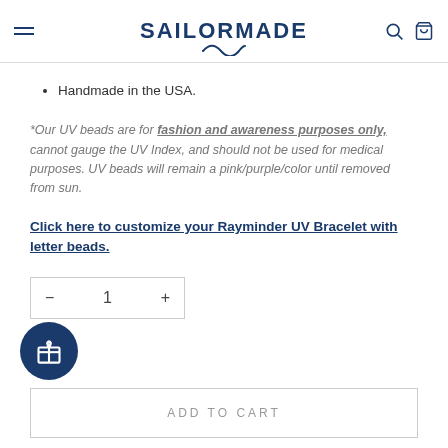SAILORMADE
Handmade in the USA.
*Our UV beads are for fashion and awareness purposes only, cannot gauge the UV Index, and should not be used for medical purposes. UV beads will remain a pink/purple/color until removed from sun.
Click here to customize your Rayminder UV Bracelet with letter beads.